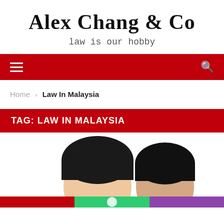Alex Chang & Co
law is our hobby
Navigation bar with hamburger menu and search icon
Home › Law In Malaysia
TAG: LAW IN MALAYSIA
[Figure (photo): Two people (heads visible), man on left and woman on right, cropped at upper body, white background]